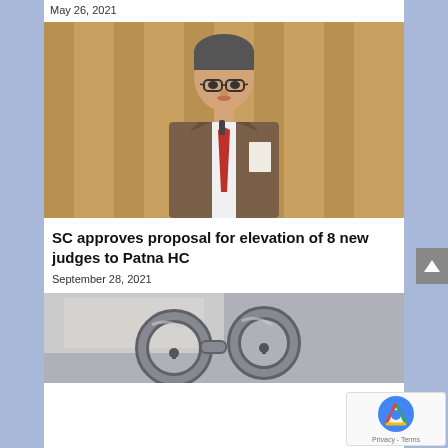May 26, 2021
[Figure (photo): A man in a brown suit and red tie speaking at a podium, wearing glasses, holding papers]
SC approves proposal for elevation of 8 new judges to Patna HC
September 28, 2021
[Figure (photo): Close-up of metal handcuffs on a surface with fingerprint cards in the background]